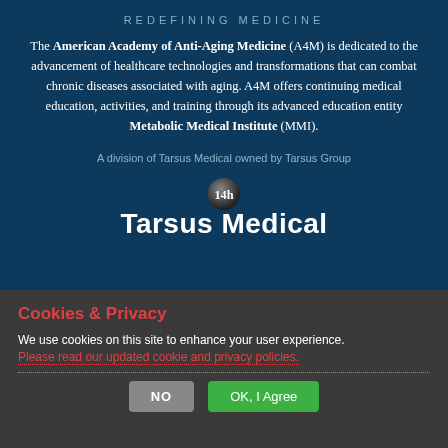REDEFINING MEDICINE
The American Academy of Anti-Aging Medicine (A4M) is dedicated to the advancement of healthcare technologies and transformations that can combat chronic diseases associated with aging. A4M offers continuing medical education, activities, and training through its advanced education entity Metabolic Medical Institute (MMI).
A division of Tarsus Medical owned by Tarsus Group
[Figure (logo): Tarsus Medical logo with circular icon above bold white text reading 'Tarsus Medical']
Cookies & Privacy
We use cookies on this site to enhance your user experience. Please read our updated cookie and privacy policies.